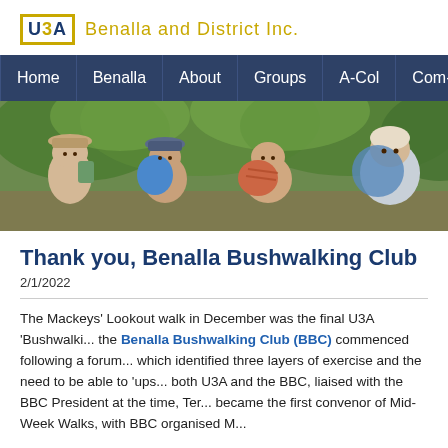[Figure (logo): U3A Benalla and District Inc. logo — yellow-bordered box with U3A text and gold organisation name]
Home | Benalla | About | Groups | A-Col | Com-G | I-R
[Figure (photo): Four people (three women and one man) sitting outdoors under green trees, one wearing a hat with a backpack, one in a blue shirt, smiling at camera]
Thank you, Benalla Bushwalking Club
2/1/2022
The Mackeys' Lookout walk in December was the final U3A 'Bushwalki... the Benalla Bushwalking Club (BBC) commenced following a foru... which identified three layers of exercise and the need to be able to 'ups... both U3A and the BBC, liaised with the BBC President at the time, Ter... became the first convenor of Mid-Week Walks, with BBC organised M...